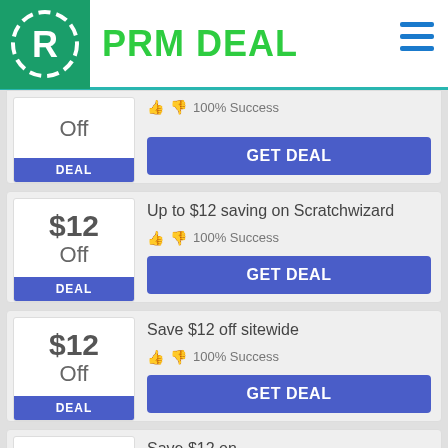PRM DEAL
Off
100% Success
DEAL
GET DEAL
$12 Off
Up to $12 saving on Scratchwizard
100% Success
DEAL
GET DEAL
$12 Off
Save $12 off sitewide
100% Success
DEAL
GET DEAL
Save $12 on...